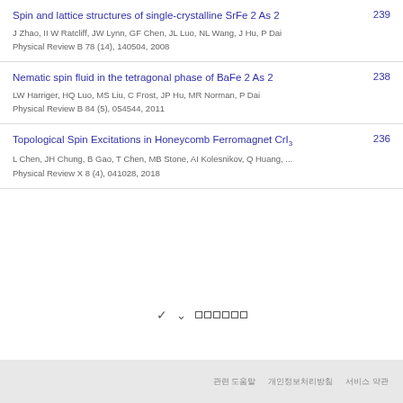Spin and lattice structures of single-crystalline SrFe 2 As 2 | J Zhao, II W Ratcliff, JW Lynn, GF Chen, JL Luo, NL Wang, J Hu, P Dai | Physical Review B 78 (14), 140504, 2008 | 239
Nematic spin fluid in the tetragonal phase of BaFe 2 As 2 | LW Harriger, HQ Luo, MS Liu, C Frost, JP Hu, MR Norman, P Dai | Physical Review B 84 (5), 054544, 2011 | 238
Topological Spin Excitations in Honeycomb Ferromagnet CrI3 | L Chen, JH Chung, B Gao, T Chen, MB Stone, AI Kolesnikov, Q Huang, ... | Physical Review X 8 (4), 041028, 2018 | 236
관련 도움말 개인정보처리방침 서비스 약관